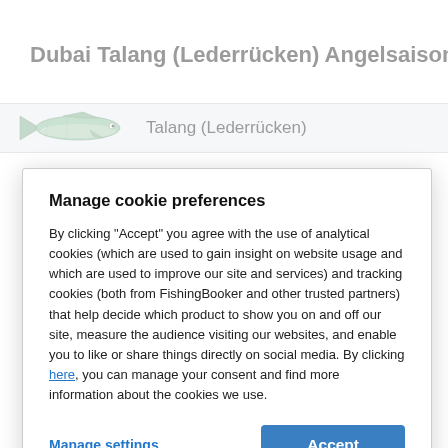Dubai Talang (Lederrücken) Angelsaisonen
[Figure (illustration): Fish illustration for Talang (Lederrücken) with label text]
Manage cookie preferences
By clicking "Accept" you agree with the use of analytical cookies (which are used to gain insight on website usage and which are used to improve our site and services) and tracking cookies (both from FishingBooker and other trusted partners) that help decide which product to show you on and off our site, measure the audience visiting our websites, and enable you to like or share things directly on social media. By clicking here, you can manage your consent and find more information about the cookies we use.
Manage settings
Accept